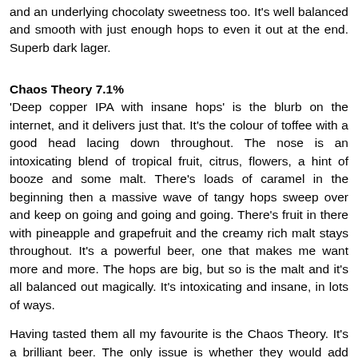and an underlying chocolaty sweetness too. It's well balanced and smooth with just enough hops to even it out at the end. Superb dark lager.
Chaos Theory 7.1%
'Deep copper IPA with insane hops' is the blurb on the internet, and it delivers just that. It's the colour of toffee with a good head lacing down throughout. The nose is an intoxicating blend of tropical fruit, citrus, flowers, a hint of booze and some malt. There's loads of caramel in the beginning then a massive wave of tangy hops sweep over and keep on going and going and going. There's fruit in there with pineapple and grapefruit and the creamy rich malt stays throughout. It's a powerful beer, one that makes me want more and more. The hops are big, but so is the malt and it's all balanced out magically. It's intoxicating and insane, in lots of ways.
Having tasted them all my favourite is the Chaos Theory. It's a brilliant beer. The only issue is whether they would add another hop-heavy pale ale to their set. I'd kind of like the Zeit Geist to win because it'd be good to see a British black lager (though maybe they could be bold and add a IPAS) b...